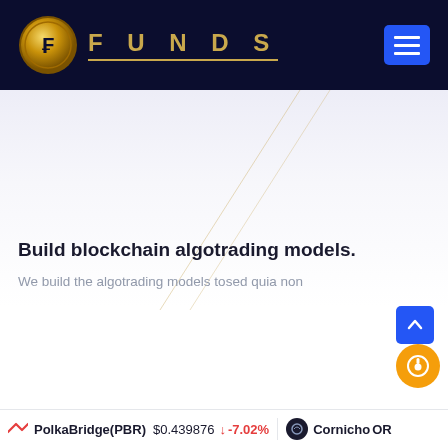FUNDS
[Figure (screenshot): Decorative diagonal golden lines on a light gradient background]
Build blockchain algotrading models.
We build the algotrading models tosed quia non
PolkaBridge(PBR) $0.439876 -7.02% Cornichon OR